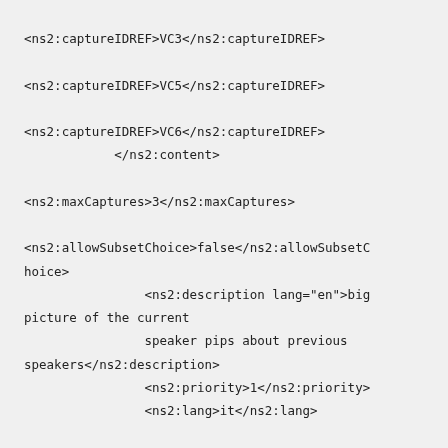<ns2:captureIDREF>VC3</ns2:captureIDREF>

<ns2:captureIDREF>VC5</ns2:captureIDREF>

<ns2:captureIDREF>VC6</ns2:captureIDREF>
            </ns2:content>

<ns2:maxCaptures>3</ns2:maxCaptures>

<ns2:allowSubsetChoice>false</ns2:allowSubsetChoice>
                <ns2:description lang="en">big picture of the current
                speaker pips about previous speakers</ns2:description>
                <ns2:priority>1</ns2:priority>
                <ns2:lang>it</ns2:lang>

<ns2:mobility>static</ns2:mobility>
                <ns2:view>individual</ns2:view>
            </ns2:mediaCapture>